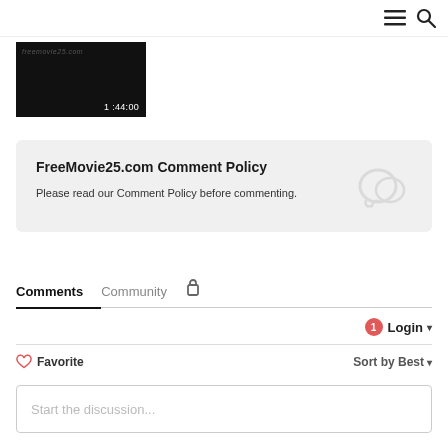≡ 🔍
[Figure (screenshot): Video thumbnail showing black background with timestamp 1:44:00 and watermark text]
FreeMovie25.com Comment Policy
Please read our Comment Policy before commenting.
Comments  Community  🔒
1  Login ▾
♡ Favorite    Sort by Best ▾
Start the discussion...